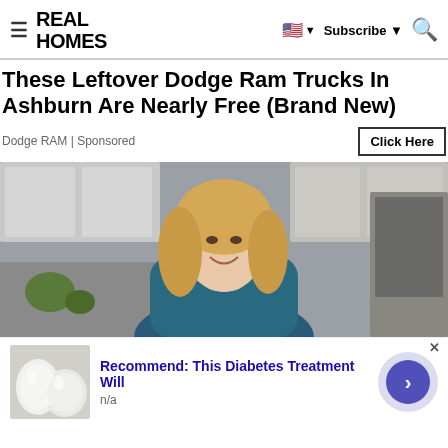REAL HOMES
These Leftover Dodge Ram Trucks In Ashburn Are Nearly Free (Brand New)
Dodge RAM | Sponsored
Click Here
[Figure (photo): Woman with blonde hair smiling in a kitchen setting]
Recommend: This Diabetes Treatment Will
n/a